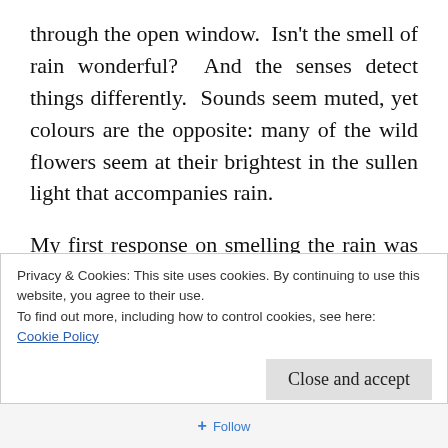through the open window. Isn't the smell of rain wonderful? And the senses detect things differently. Sounds seem muted, yet colours are the opposite: many of the wild flowers seem at their brightest in the sullen light that accompanies rain.
My first response on smelling the rain was frustration: I've been lethargic and struggling for motivation all week, and then yesterday we acquired most of what I needed to push ahead
Privacy & Cookies: This site uses cookies. By continuing to use this website, you agree to their use.
To find out more, including how to control cookies, see here: Cookie Policy
Close and accept